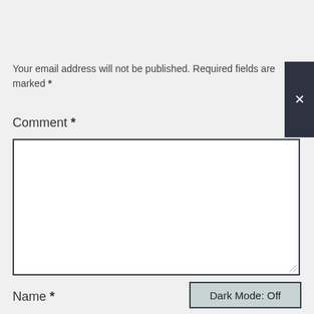Your email address will not be published. Required fields are marked *
Comment *
[Figure (screenshot): Empty comment textarea input field with dark border]
Name *
[Figure (screenshot): Dark Mode: Off button, light blue-grey background with dark border]
[Figure (screenshot): Dark close button panel with X symbol on right side]